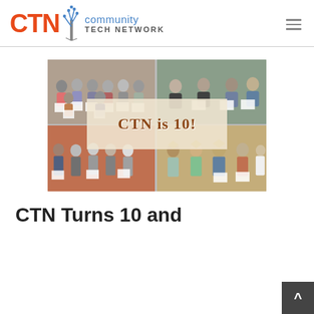CTN | community TECH NETWORK
[Figure (photo): Collage of four group photos showing seniors and adults holding certificates, with a central overlay reading 'CTN is 10!']
CTN Turns 10 and